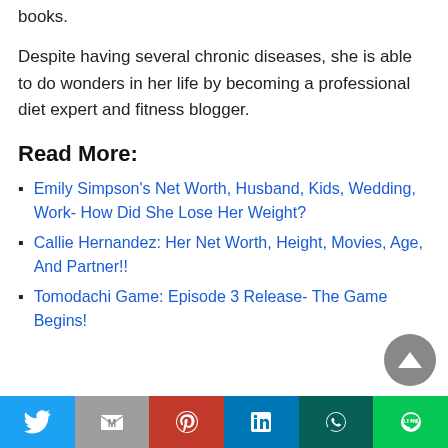books.
Despite having several chronic diseases, she is able to do wonders in her life by becoming a professional diet expert and fitness blogger.
Read More:
Emily Simpson's Net Worth, Husband, Kids, Wedding, Work- How Did She Lose Her Weight?
Callie Hernandez: Her Net Worth, Height, Movies, Age, And Partner!!
Tomodachi Game: Episode 3 Release- The Game Begins!
Twitter | Gmail | Pinterest | LinkedIn | WhatsApp | Line